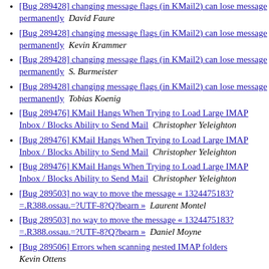[Bug 289428] changing message flags (in KMail2) can lose message permanently   David Faure
[Bug 289428] changing message flags (in KMail2) can lose message permanently   Kevin Krammer
[Bug 289428] changing message flags (in KMail2) can lose message permanently   S. Burmeister
[Bug 289428] changing message flags (in KMail2) can lose message permanently   Tobias Koenig
[Bug 289476] KMail Hangs When Trying to Load Large IMAP Inbox / Blocks Ability to Send Mail   Christopher Yeleighton
[Bug 289476] KMail Hangs When Trying to Load Large IMAP Inbox / Blocks Ability to Send Mail   Christopher Yeleighton
[Bug 289476] KMail Hangs When Trying to Load Large IMAP Inbox / Blocks Ability to Send Mail   Christopher Yeleighton
[Bug 289503] no way to move the message « 1324475183?=.R388.ossau.=?UTF-8?Q?bearn »   Laurent Montel
[Bug 289503] no way to move the message « 1324475183?=.R388.ossau.=?UTF-8?Q?bearn »   Daniel Moyne
[Bug 289506] Errors when scanning nested IMAP folders   Kevin Ottens
[Bug 289506] Errors when scanning nested IMAP folders   Kevin Ottens
[Bug 289506] Errors when scanning nested IMAP folders